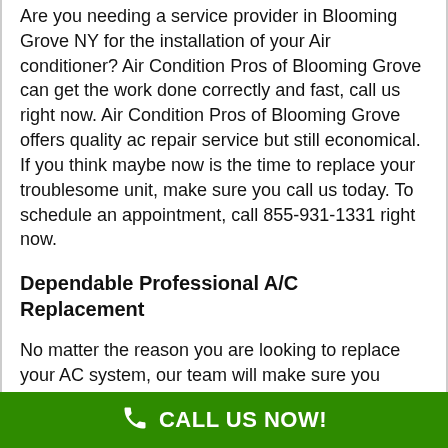Are you needing a service provider in Blooming Grove NY for the installation of your Air conditioner? Air Condition Pros of Blooming Grove can get the work done correctly and fast, call us right now. Air Condition Pros of Blooming Grove offers quality ac repair service but still economical. If you think maybe now is the time to replace your troublesome unit, make sure you call us today. To schedule an appointment, call 855-931-1331 right now.
Dependable Professional A/C Replacement
No matter the reason you are looking to replace your AC system, our team will make sure you aquire the right system to meet your needs. You can never go wrong to trust our Air Condition Pros of Blooming Grove who has been running since 1980 in Blooming Grove NY. In occasions where replacement is simply not achievable, another choice of funding can be obtained on that same day.
CALL US NOW!